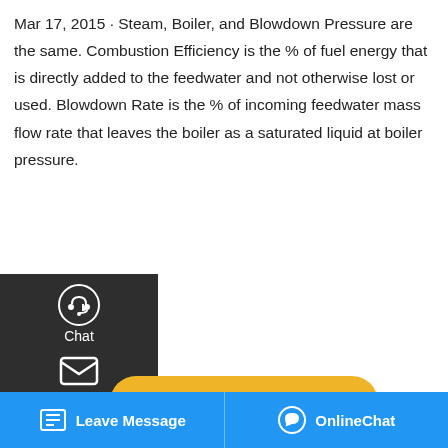Mar 17, 2015 · Steam, Boiler, and Blowdown Pressure are the same. Combustion Efficiency is the % of fuel energy that is directly added to the feedwater and not otherwise lost or used. Blowdown Rate is the % of incoming feedwater mass flow rate that leaves the boiler as a saturated liquid at boiler pressure.
[Figure (screenshot): Left sidebar with chat, email, and contact icons on dark background; Get a Quote yellow button; WhatsApp sticker banner; bottom blue bar with Leave Message and OnlineChat; boiler industrial photo; up-arrow button]